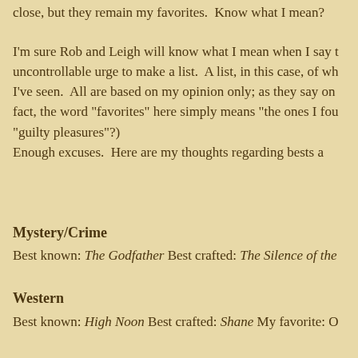close, but they remain my favorites.  Know what I mean?
I'm sure Rob and Leigh will know what I mean when I say t uncontrollable urge to make a list.  A list, in this case, of wh I've seen.  All are based on my opinion only; as they say on fact, the word "favorites" here simply means "the ones I fou "guilty pleasures"?)
Enough excuses.  Here are my thoughts regarding bests a
Mystery/Crime
Best known: The Godfather Best crafted: The Silence of the
Western
Best known: High Noon Best crafted: Shane My favorite: O
Sci-fi/Fantasy
Best known: Star Wars Best crafted: Blade Runner My favo
Romance
Best known: Gone With the Wind Best crafted: Casablanca